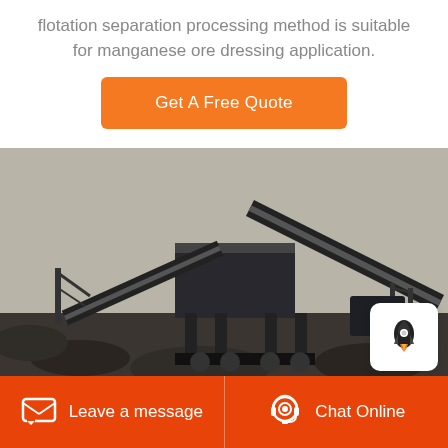flotation separation processing method is suitable for manganese ore dressing application.
Get A Free Quote
[Figure (photo): Industrial mining/ore dressing equipment facility with conveyor belts and large machinery at a mine site, photographed outdoors against a light sky.]
Leave a message
Chat Online